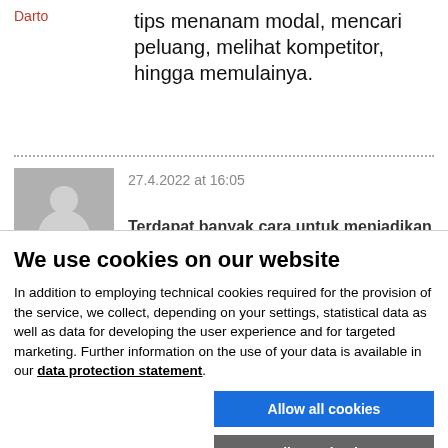Darto
tips menanam modal, mencari peluang, melihat kompetitor, hingga memulainya.
27.4.2022 at 16:05
Terdapat banyak cara untuk menjadikan
We use cookies on our website
In addition to employing technical cookies required for the provision of the service, we collect, depending on your settings, statistical data as well as data for developing the user experience and for targeted marketing. Further information on the use of your data is available in our data protection statement.
Allow all cookies
Allow selection
Use necessary cookies only
Necessary technical cookies  Functional cookies  Statistics cookies  Marketing cookies  Show details